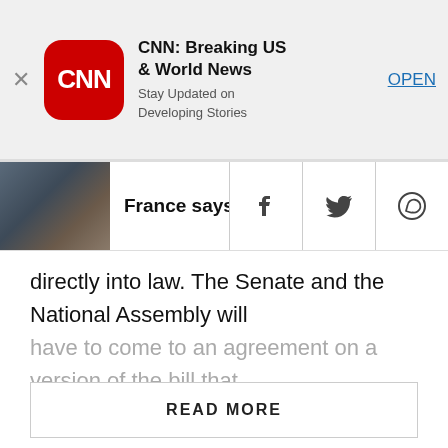[Figure (screenshot): CNN app banner: red CNN logo icon, app title 'CNN: Breaking US & World News', subtitle 'Stay Updated on Developing Stories', blue OPEN link, and a close X button on the left.]
[Figure (screenshot): Article navigation bar with a thumbnail photo of Notre Dame cathedral on the left, headline 'France says Notre Dame mu...' (truncated), and three social icons: Facebook, Twitter, WhatsApp.]
directly into law. The Senate and the National Assembly will have to come to an agreement on a version of the bill that
READ MORE